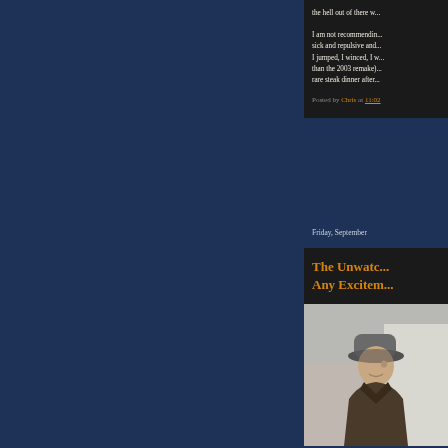the hell out of there w...
I am not recommendin... sick and repulsive and... I jumped, I winced, I v... than the 2003 remake)... rare steak dinner after...
Posted by Chris at 11:02
Friday, September
The Unwatc... Any Excitem...
[Figure (photo): Person wearing a grey fedora hat and brown leather jacket, side profile, standing outdoors]